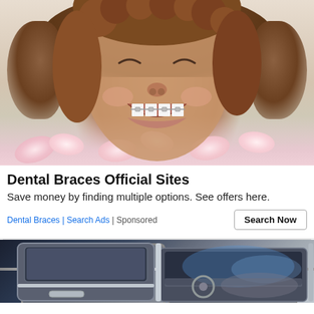[Figure (photo): Young person smiling with dental braces, lying in a bath surrounded by pink flower petals]
Dental Braces Official Sites
Save money by finding multiple options. See offers here.
Dental Braces | Search Ads | Sponsored
[Figure (photo): Luxury car interior showing open car door and chrome trim details]